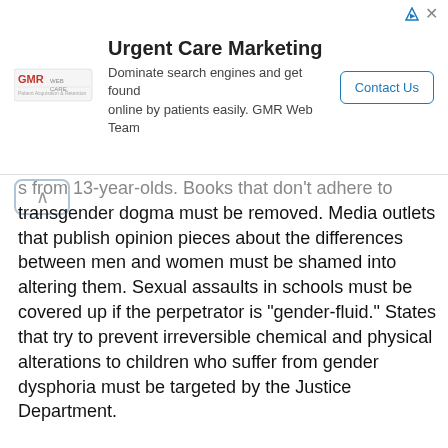[Figure (other): Advertisement banner for GMR Web Team / Urgent Care Marketing with logo, headline, subtext, and Contact Us button]
s from 13-year-olds. Books that don't adhere to transgender dogma must be removed. Media outlets that publish opinion pieces about the differences between men and women must be shamed into altering them. Sexual assaults in schools must be covered up if the perpetrator is "gender-fluid." States that try to prevent irreversible chemical and physical alterations to children who suffer from gender dysphoria must be targeted by the Justice Department.

And, yes, eighth graders must be investigated for sexual harassment for saying "she" instead of "they."